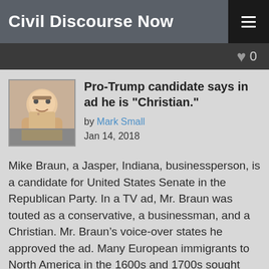Civil Discourse Now
Pro-Trump candidate says in ad he is "Christian."
by Mark Small
Jan 14, 2018
Mike Braun, a Jasper, Indiana, businessperson, is a candidate for United States Senate in the Republican Party. In a TV ad, Mr. Braun was touted as a conservative, a businessman, and a Christian. Mr. Braun’s voice-over states he approved the ad. Many European immigrants to North America in the 1600s and 1700s sought escape from religious persecution. Puritans arrived. In Massachusetts they sought freedom to worship, and discriminated against those whose beliefs were different. Quakers sought to escape discrimination. Four Quakers were hanged by